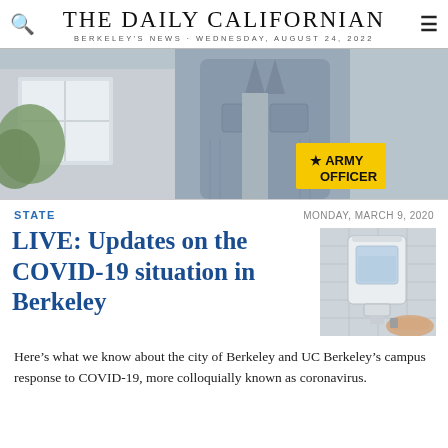THE DAILY CALIFORNIAN
BERKELEY'S NEWS · WEDNESDAY, AUGUST 24, 2022
[Figure (photo): Advertisement photo showing a person in a denim jacket standing outside a house with an Army Officer badge overlay]
STATE
MONDAY, MARCH 9, 2020
LIVE: Updates on the COVID-19 situation in Berkeley
[Figure (photo): Photo of a wall-mounted soap/hand sanitizer dispenser being used]
Here's what we know about the city of Berkeley and UC Berkeley's campus response to COVID-19, more colloquially known as coronavirus.